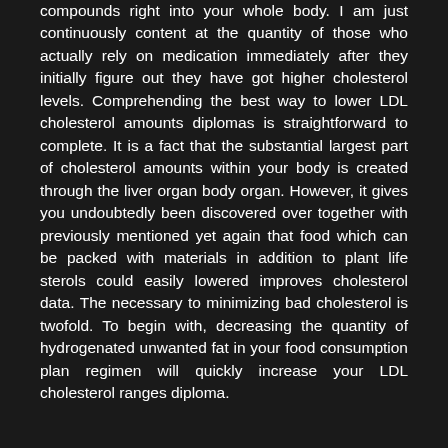compounds right into your whole body. I am just continuously content at the quantity of those who actually rely on medication immediately after they initially figure out they have got higher cholesterol levels. Comprehending the best way to lower LDL cholesterol amounts diplomas is straightforward to complete. It is a fact that the substantial largest part of cholesterol amounts within your body is created through the liver organ body organ. However, it gives you undoubtedly been discovered over together with previously mentioned yet again that food which can be packed with materials in addition to plant life sterols could easily lowered improves cholesterol data. The necessary to minimizing bad cholesterol is twofold. To begin with, decreasing the quantity of hydrogenated unwanted fat in your food consumption plan regimen will quickly increase your LDL cholesterol ranges diploma.